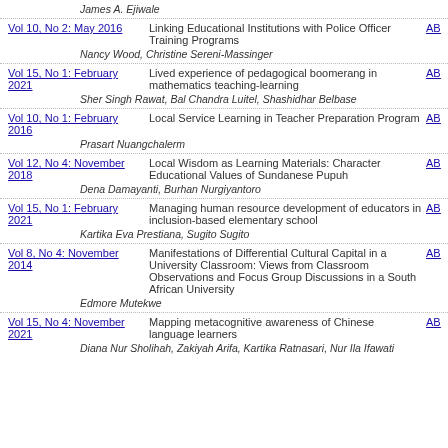James A. Ejiwale
Vol 10, No 2: May 2016 | Linking Educational Institutions with Police Officer Training Programs | AB
Nancy Wood, Christine Sereni-Massinger
Vol 15, No 1: February 2021 | Lived experience of pedagogical boomerang in mathematics teaching-learning | AB
Sher Singh Rawat, Bal Chandra Luitel, Shashidhar Belbase
Vol 10, No 1: February 2016 | Local Service Learning in Teacher Preparation Program | AB
Prasart Nuangchalerm
Vol 12, No 4: November 2018 | Local Wisdom as Learning Materials: Character Educational Values of Sundanese Pupuh | AB
Dena Damayanti, Burhan Nurgiyantoro
Vol 15, No 1: February 2021 | Managing human resource development of educators in inclusion-based elementary school | AB
Kartika Eva Prestiana, Sugito Sugito
Vol 8, No 4: November 2014 | Manifestations of Differential Cultural Capital in a University Classroom: Views from Classroom Observations and Focus Group Discussions in a South African University | AB
Edmore Mutekwe
Vol 15, No 4: November 2021 | Mapping metacognitive awareness of Chinese language learners | AB
Diana Nur Sholihah, Zakiyah Arifa, Kartika Ratnasari, Nur Ila Ifawati